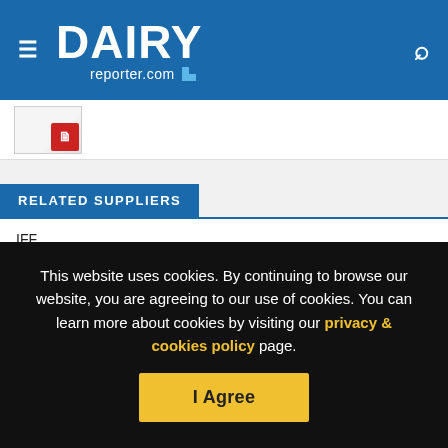DAIRY reporter.com
[Figure (screenshot): Thumbnail image of a document/report with a red PDF icon]
RELATED SUPPLIERS
IFF
This website uses cookies. By continuing to browse our website, you are agreeing to our use of cookies. You can learn more about cookies by visiting our privacy & cookies policy page.
I Agree